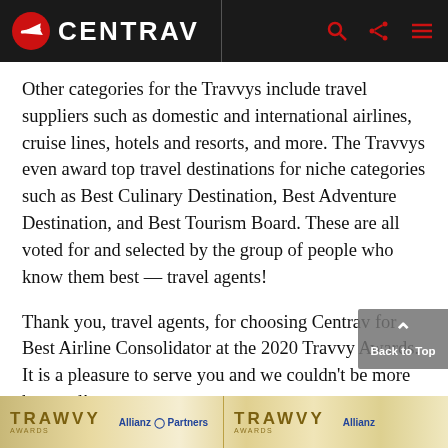CENTRAV
Other categories for the Travvys include travel suppliers such as domestic and international airlines, cruise lines, hotels and resorts, and more. The Travvys even award top travel destinations for niche categories such as Best Culinary Destination, Best Adventure Destination, and Best Tourism Board. These are all voted for and selected by the group of people who know them best — travel agents!
Thank you, travel agents, for choosing Centrav for Best Airline Consolidator at the 2020 Travvy Awards. It is a pleasure to serve you and we couldn't be more honored!
[Figure (photo): Bottom strip showing TRAVVY AWARDS logo with Allianz Partners branding, repeated twice side by side]